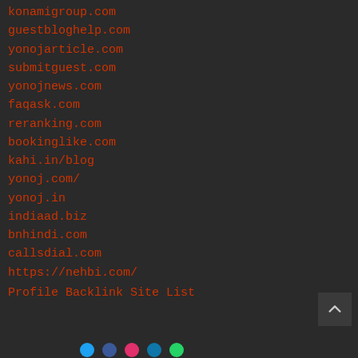konamigroup.com
guestbloghelp.com
yonojarticle.com
submitguest.com
yonojnews.com
faqask.com
reranking.com
bookinglike.com
kahi.in/blog
yonoj.com/
yonoj.in
indiaad.biz
bnhindi.com
callsdial.com
https://nehbi.com/
Profile Backlink Site List